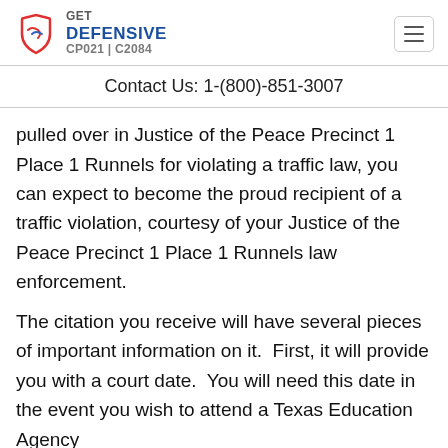GET DEFENSIVE CP021 | C2084
Contact Us: 1-(800)-851-3007
pulled over in Justice of the Peace Precinct 1 Place 1 Runnels for violating a traffic law, you can expect to become the proud recipient of a traffic violation, courtesy of your Justice of the Peace Precinct 1 Place 1 Runnels law enforcement.
The citation you receive will have several pieces of important information on it.  First, it will provide you with a court date.  You will need this date in the event you wish to attend a Texas Education Agency